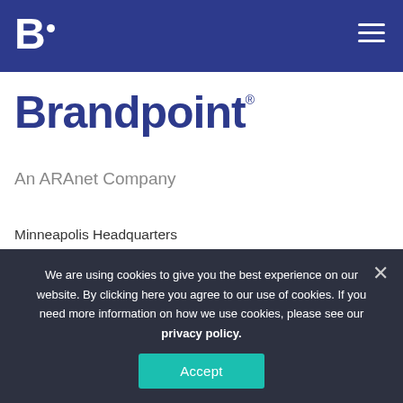B. [Brandpoint logo header with hamburger menu]
Brandpoint®
An ARAnet Company
Minneapolis Headquarters
(952) 278-0780
contact@brandpoint.com
We are using cookies to give you the best experience on our website. By clicking here you agree to our use of cookies. If you need more information on how we use cookies, please see our privacy policy.
Accept